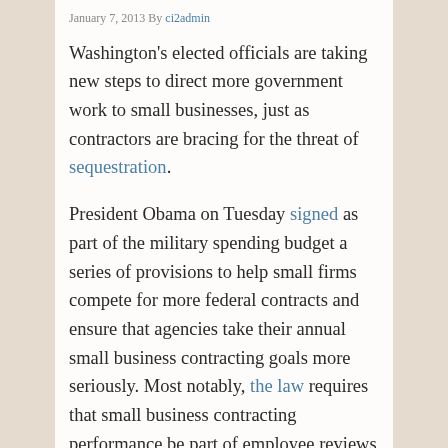January 7, 2013 By ci2admin
Washington's elected officials are taking new steps to direct more government work to small businesses, just as contractors are bracing for the threat of sequestration.
President Obama on Tuesday signed as part of the military spending budget a series of provisions to help small firms compete for more federal contracts and ensure that agencies take their annual small business contracting goals more seriously. Most notably, the law requires that small business contracting performance be part of employee reviews for senior agency officials,